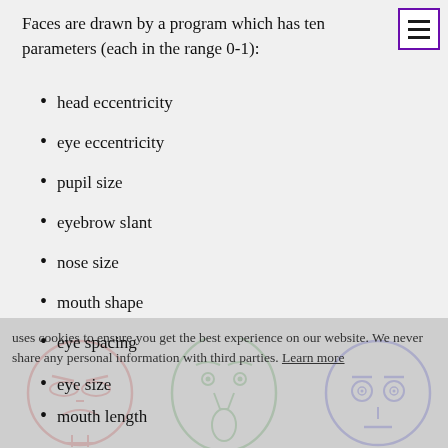Faces are drawn by a program which has ten parameters (each in the range 0-1):
head eccentricity
eye eccentricity
pupil size
eyebrow slant
nose size
mouth shape
eye spacing
eye size
mouth length
mouth opening
[Figure (illustration): Three hand-drawn face illustrations: a red angry face (left), a green surprised face (center), a blue neutral face (right)]